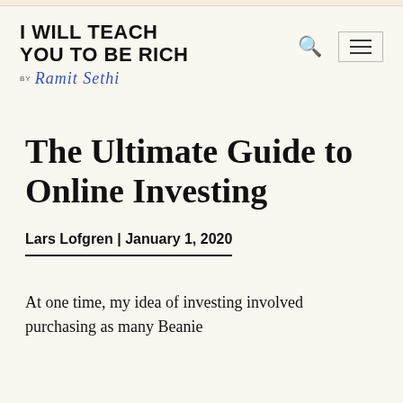I WILL TEACH YOU TO BE RICH by Ramit Sethi
The Ultimate Guide to Online Investing
Lars Lofgren | January 1, 2020
At one time, my idea of investing involved purchasing as many Beanie